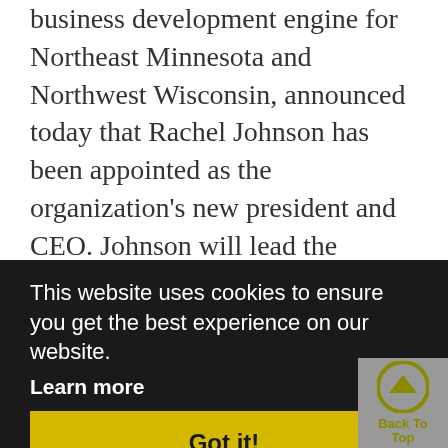business development engine for Northeast Minnesota and Northwest Wisconsin, announced today that Rachel Johnson has been appointed as the organization's new president and CEO. Johnson will lead the organization in executing its strategic mission to leverage private sector resources to drive investment throughout the APEX region.
"The APEX Executive Committee is thrilled
This website uses cookies to ensure you get the best experience on our website. Learn more
Got it!
organization,' said Lisa Pouline, APEX board chair. 'Rachel has been building
relationships with key community stakeholders throughout the region for
over 20 years. Her ability to bring people
Back To Top